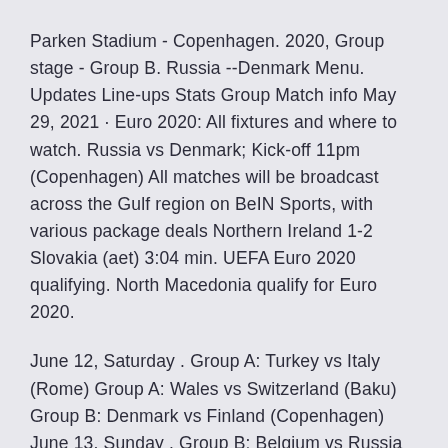Parken Stadium - Copenhagen. 2020, Group stage - Group B. Russia --Denmark Menu. Updates Line-ups Stats Group Match info May 29, 2021 · Euro 2020: All fixtures and where to watch. Russia vs Denmark; Kick-off 11pm (Copenhagen) All matches will be broadcast across the Gulf region on BeIN Sports, with various package deals Northern Ireland 1-2 Slovakia (aet) 3:04 min. UEFA Euro 2020 qualifying. North Macedonia qualify for Euro 2020.
June 12, Saturday . Group A: Turkey vs Italy (Rome) Group A: Wales vs Switzerland (Baku) Group B: Denmark vs Finland (Copenhagen) June 13, Sunday . Group B: Belgium vs Russia (St Petersburg) Group D: England vs Croatia (London) Group C: Austria vs North Macedonia (Bucharest). June 14, Monday As you may